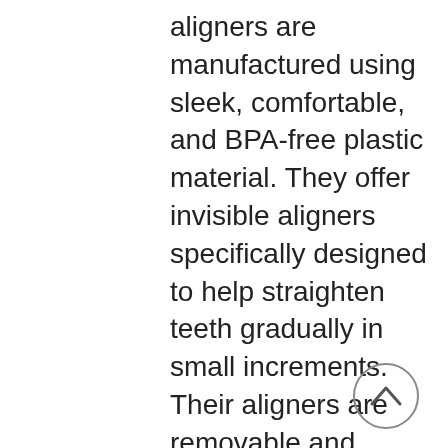aligners are manufactured using sleek, comfortable, and BPA-free plastic material. They offer invisible aligners specifically designed to help straighten teeth gradually in small increments. Their aligners are removable and straightforward to clean. However, please note that their aligners are purposely to treat minor to moderate teeth alignment cases only, such as:
[Figure (other): A circular scroll-to-top button with an upward-pointing chevron/caret icon]